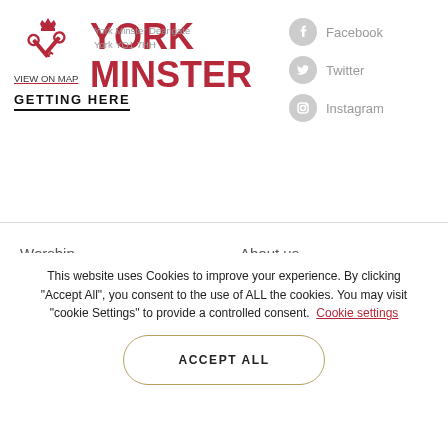[Figure (logo): York Minster crossed keys logo in red/rose with YORK MINSTER text in red]
York Minster Deangate
York YO1 7HH
VIEW ON MAP
GETTING HERE
Facebook
Twitter
Instagram
Worship
Visit
Discover
What's on
Get Involved
Safeguarding
About us
Sign up
Shop
Latest
Media centre
Jobs
This website uses Cookies to improve your experience. By clicking "Accept All", you consent to the use of ALL the cookies. You may visit "cookie Settings" to provide a controlled consent.
Cookie settings
ACCEPT ALL